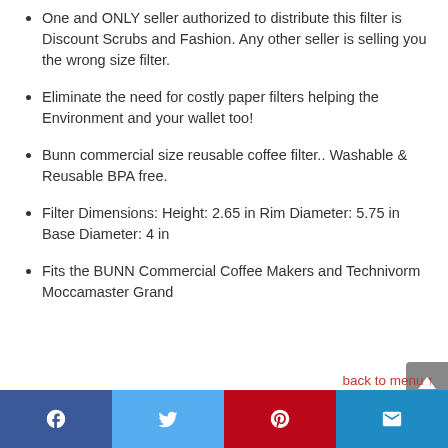One and ONLY seller authorized to distribute this filter is Discount Scrubs and Fashion. Any other seller is selling you the wrong size filter.
Eliminate the need for costly paper filters helping the Environment and your wallet too!
Bunn commercial size reusable coffee filter.. Washable & Reusable BPA free.
Filter Dimensions: Height: 2.65 in Rim Diameter: 5.75 in Base Diameter: 4 in
Fits the BUNN Commercial Coffee Makers and Technivorm Moccamaster Grand
back to menu ↑